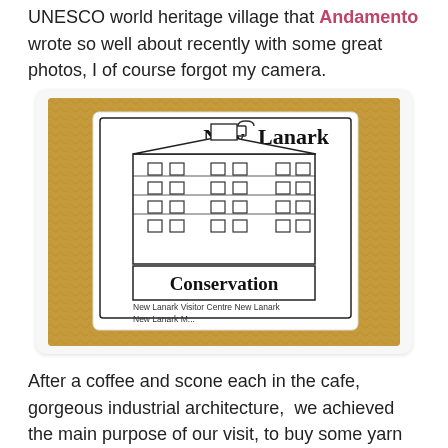UNESCO world heritage village that Andamento wrote so well about recently with some great photos, I of course forgot my camera.
[Figure (photo): Photo of a New Lanark Conservation label/packaging resting against a golden/orange knitted fabric background. The label shows a line drawing of the New Lanark mill buildings and reads 'New Lanark Conservation' with smaller text below 'New Lanark Visitor Centre, New Lanark M...']
After a coffee and scone each in the cafe, gorgeous industrial architecture,  we achieved the main purpose of our visit, to buy some yarn to knit Mr FF a new jumper.  I really like supporting New Lanark, their yarn is lovely, using British wool and traditional methods and its as economic for us to visit as pay postage plus we get a nice trip out.
[Figure (photo): Partial photo showing skeins of dark/grey yarn with flecks, cropped at the bottom of the page.]